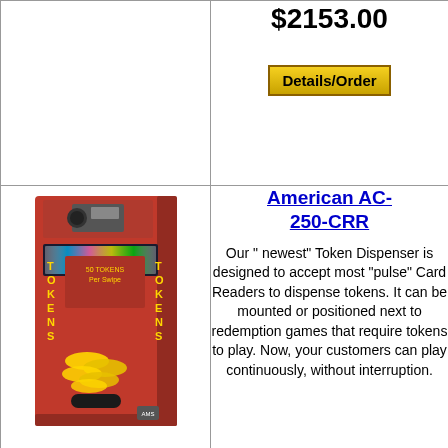$2153.00
Details/Order
[Figure (photo): Red American AC-250-CRR Token Dispenser machine with TOKENS text on sides and illuminated card slot]
American AC-250-CRR
Our " newest" Token Dispenser is designed to accept most "pulse" Card Readers to dispense tokens. It can be mounted or positioned next to redemption games that require tokens to play. Now, your customers can play continuously, without interruption.